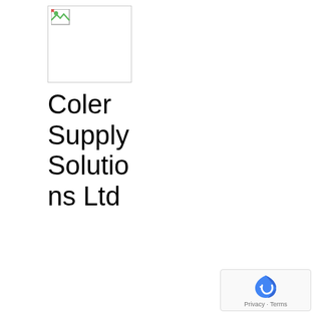[Figure (logo): Broken image placeholder icon in a bordered box representing Coler Supply Solutions Ltd company logo]
Coler Supply Solutions Ltd
1 year ago
Coler Supply Solutions have a proactive approach to quality through